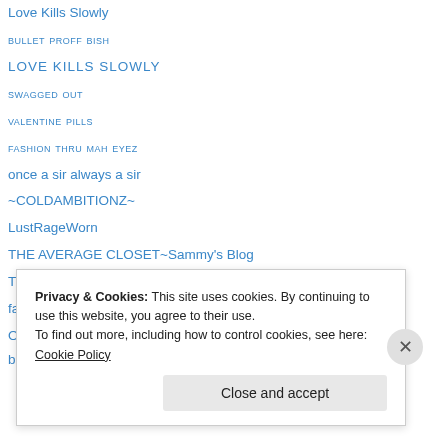Love Kills Slowly
bullet proff bish
LOVE KILLS SLOWLY
swagged out
valentine pills
fashion thru mah eyez
once a sir always a sir
~COLDAMBITIONZ~
LustRageWorn
THE AVERAGE CLOSET~Sammy's Blog
The Highfield
fashionfeedofsl
Once A Sir Always A Sir -Jay's blog
bubblegum*FEED*
Privacy & Cookies: This site uses cookies. By continuing to use this website, you agree to their use. To find out more, including how to control cookies, see here: Cookie Policy
Close and accept